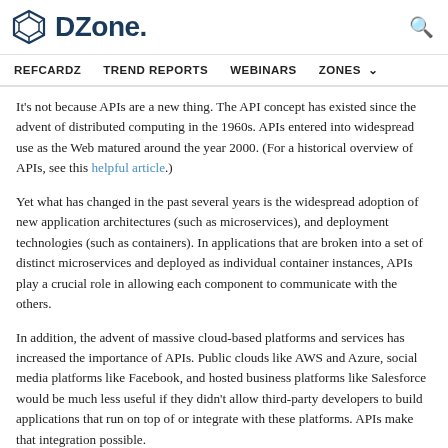DZone. [logo] [search icon]
REFCARDZ  TREND REPORTS  WEBINARS  ZONES
It's not because APIs are a new thing. The API concept has existed since the advent of distributed computing in the 1960s. APIs entered into widespread use as the Web matured around the year 2000. (For a historical overview of APIs, see this helpful article.)
Yet what has changed in the past several years is the widespread adoption of new application architectures (such as microservices), and deployment technologies (such as containers). In applications that are broken into a set of distinct microservices and deployed as individual container instances, APIs play a crucial role in allowing each component to communicate with the others.
In addition, the advent of massive cloud-based platforms and services has increased the importance of APIs. Public clouds like AWS and Azure, social media platforms like Facebook, and hosted business platforms like Salesforce would be much less useful if they didn't allow third-party developers to build applications that run on top of or integrate with these platforms. APIs make that integration possible.